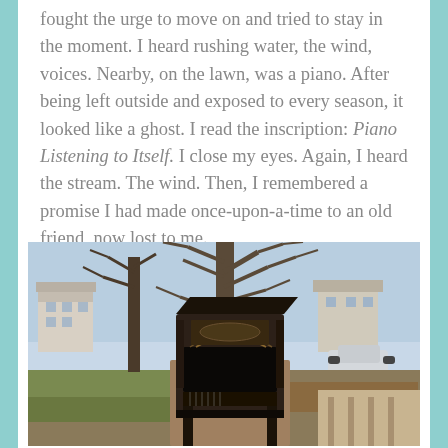fought the urge to move on and tried to stay in the moment. I heard rushing water, the wind, voices. Nearby, on the lawn, was a piano. After being left outside and exposed to every season, it looked like a ghost. I read the inscription: Piano Listening to Itself. I close my eyes. Again, I heard the stream. The wind. Then, I remembered a promise I had made once-upon-a-time to an old friend, now lost to me.
[Figure (photo): An old weathered upright piano sitting outdoors on a lawn, missing parts of its casing and keys, with bare trees and suburban buildings visible in the background on a clear winter day.]